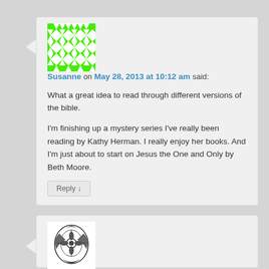[Figure (illustration): Green geometric avatar/gravatar for user Susanne with diamond and triangle pattern on bright green background]
Susanne on May 28, 2013 at 10:12 am said:
What a great idea to read through different versions of the bible.

I'm finishing up a mystery series I've really been reading by Kathy Herman. I really enjoy her books. And I'm just about to start on Jesus the One and Only by Beth Moore.
Reply ↓
[Figure (illustration): Ornate black and white decorative avatar with floral/heraldic design]